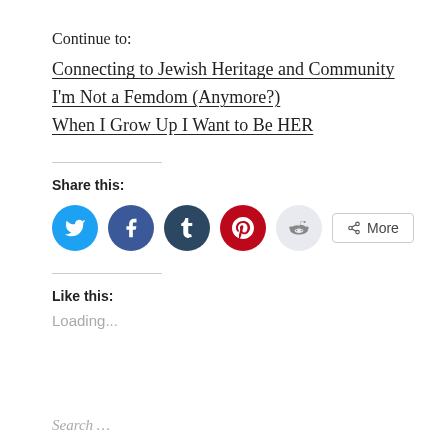Continue to:
Connecting to Jewish Heritage and Community
I'm Not a Femdom (Anymore?)
When I Grow Up I Want to Be HER
Share this:
[Figure (infographic): Social share buttons: Twitter (blue circle), Facebook (blue circle), Tumblr (dark blue circle), Pinterest (red circle), Reddit (light gray circle), and a More button with share icon]
Like this:
Loading...
Search …